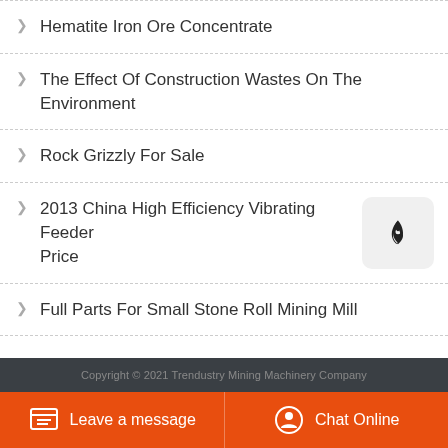Hematite Iron Ore Concentrate
The Effect Of Construction Wastes On The Environment
Rock Grizzly For Sale
2013 China High Efficiency Vibrating Feeder Price
Full Parts For Small Stone Roll Mining Mill
Copyright © 2021 Trendustry Mining Machinery Company